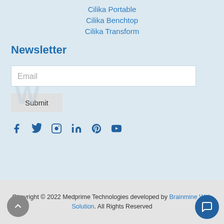Cilika Portable
Cilika Benchtop
Cilika Transform
Newsletter
Email
Submit
[Figure (other): Social media icons row: Facebook, Twitter, Instagram, LinkedIn, Pinterest, YouTube]
Copyright © 2022 Medprime Technologies developed by Brainmine Web Solution. All Rights Reserved